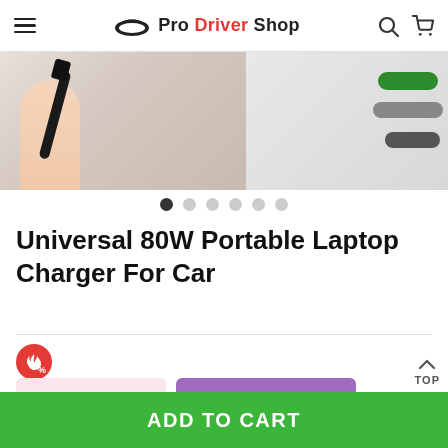Pro Driver Shop
[Figure (photo): Product image showing laptop charger cable and connectors on white/light background]
Universal 80W Portable Laptop Charger For Car
6PCS (SAVE 10%) WHOLESALE PRICE
ADD TO CART